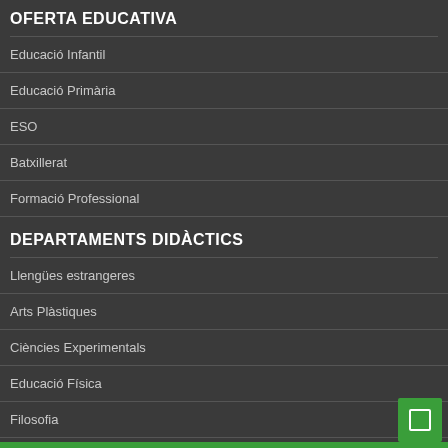OFERTA EDUCATIVA
Educació Infantil
Educació Primària
ESO
Batxillerat
Formació Professional
DEPARTAMENTS DIDÀCTICS
Llengües estrangeres
Arts Plàstiques
Ciències Experimentals
Educació Física
Filosofia
Geografia, Història i Música